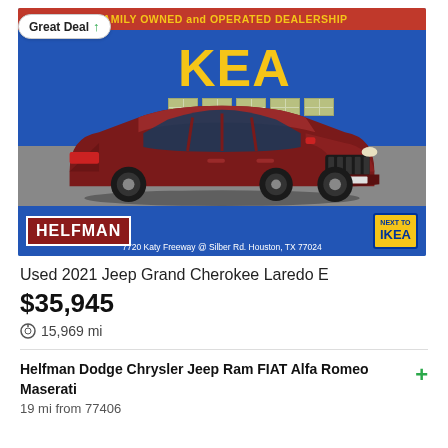[Figure (photo): Used 2021 Jeep Grand Cherokee Laredo E in dark red/maroon color, parked in front of an IKEA store. The photo has a red banner at top reading 'FAMILY OWNED and OPERATED DEALERSHIP', blue IKEA building background, Helfman dealership logo at bottom left, IKEA badge at bottom right, address text '7720 Katy Freeway @ Silber Rd. Houston, TX 77024'. A 'Great Deal' badge with upward arrow is overlaid in top left.]
Used 2021 Jeep Grand Cherokee Laredo E
$35,945
15,969 mi
Helfman Dodge Chrysler Jeep Ram FIAT Alfa Romeo Maserati
19 mi from 77406